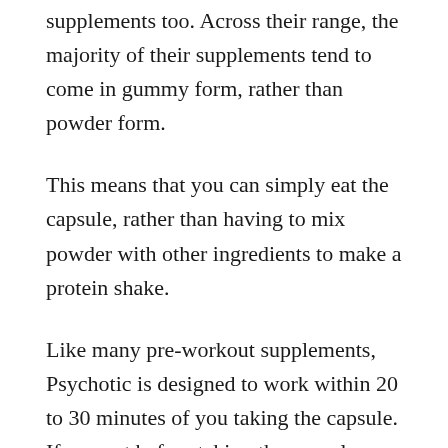supplements too. Across their range, the majority of their supplements tend to come in gummy form, rather than powder form.
This means that you can simply eat the capsule, rather than having to mix powder with other ingredients to make a protein shake.
Like many pre-workout supplements, Psychotic is designed to work within 20 to 30 minutes of you taking the capsule. If you eat before taking the capsule, then it might take slightly longer for the effects to kick in.
Once this time has passed, you can then begin your workout, and you will likely notice increased muscle